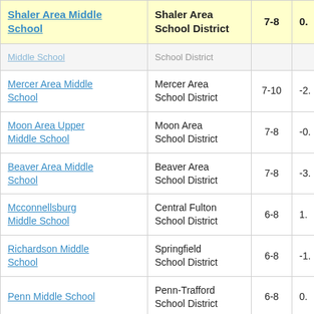| School | District | Grades | Value |
| --- | --- | --- | --- |
| Shaler Area Middle School | Shaler Area School District | 7-8 | 0. |
| Middle School | School District |  |  |
| Mercer Area Middle School | Mercer Area School District | 7-10 | -2. |
| Moon Area Upper Middle School | Moon Area School District | 7-8 | -0. |
| Beaver Area Middle School | Beaver Area School District | 7-8 | -3. |
| Mcconnellsburg Middle School | Central Fulton School District | 6-8 | 1. |
| Richardson Middle School | Springfield School District | 6-8 | -1. |
| Penn Middle School | Penn-Trafford School District | 6-8 | 0. |
| Strath Haven Middle School | Wallingford-Swarthmore School District | 6-8 | -1. |